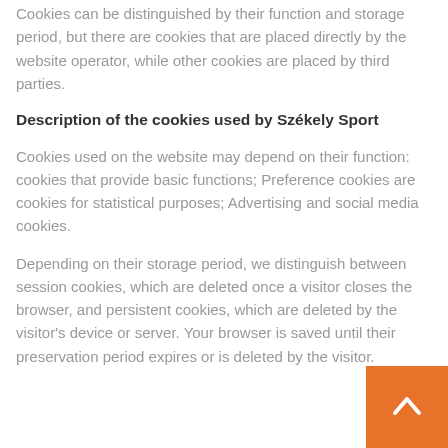Cookies can be distinguished by their function and storage period, but there are cookies that are placed directly by the website operator, while other cookies are placed by third parties.
Description of the cookies used by Székely Sport
Cookies used on the website may depend on their function: cookies that provide basic functions; Preference cookies are cookies for statistical purposes; Advertising and social media cookies.
Depending on their storage period, we distinguish between session cookies, which are deleted once a visitor closes the browser, and persistent cookies, which are deleted by the visitor's device or server. Your browser is saved until their preservation period expires or is deleted by the visitor.